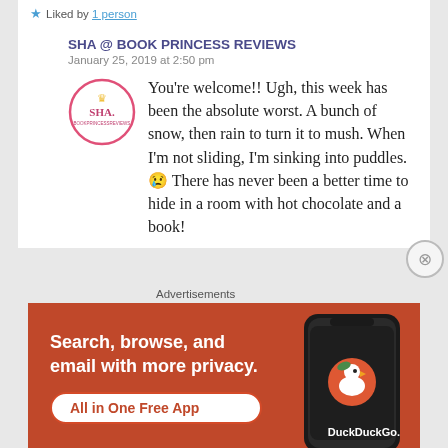★ Liked by 1 person
SHA @ BOOK PRINCESS REVIEWS
January 25, 2019 at 2:50 pm
You're welcome!! Ugh, this week has been the absolute worst. A bunch of snow, then rain to turn it to mush. When I'm not sliding, I'm sinking into puddles. 😢 There has never been a better time to hide in a room with hot chocolate and a book!
Advertisements
[Figure (infographic): DuckDuckGo advertisement banner with orange background. Text reads: Search, browse, and email with more privacy. All in One Free App. Shows a phone mockup with DuckDuckGo logo.]